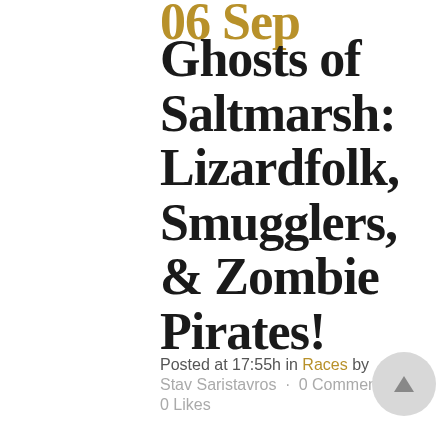06 Sep
Ghosts of Saltmarsh: Lizardfolk, Smugglers, & Zombie Pirates!
Posted at 17:55h in Races by Stav Saristavros · 0 Comments · 0 Likes